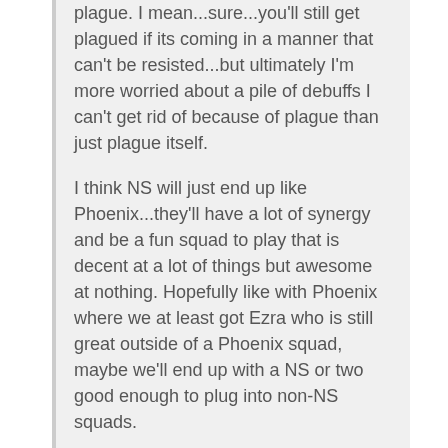plague. I mean...sure...you'll still get plagued if its coming in a manner that can't be resisted...but ultimately I'm more worried about a pile of debuffs I can't get rid of because of plague than just plague itself.
I think NS will just end up like Phoenix...they'll have a lot of synergy and be a fun squad to play that is decent at a lot of things but awesome at nothing. Hopefully like with Phoenix where we at least got Ezra who is still great outside of a Phoenix squad, maybe we'll end up with a NS or two good enough to plug into non-NS squads.
It's going to depend on the other nightsisters. Han will always be a problem right now. No tank is another issue, as is multiple AOE attacks with little way to avoid counter.
But what if they release a NS tank that tanks by granting all other night sisters stealth to start the battle? That would fit perfectly here. Now Han can't stun Talzin/Daka. No counter